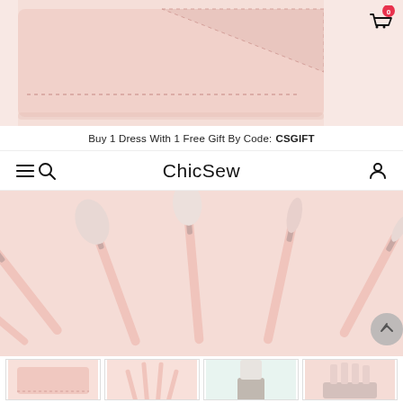[Figure (photo): Pink makeup brush case/pouch partially open, showing dotted stitching detail, on a light pink background. Top portion only visible.]
Buy 1 Dress With 1 Free Gift By Code: CSGIFT
ChicSew (navigation bar with hamburger menu, search icon, logo, and person/account icon)
[Figure (photo): Several pink-handled makeup brushes with silver ferrules fanned out on a light pink background, seen from above at an angle.]
[Figure (photo): Four thumbnail images of makeup brushes and case product from different angles.]